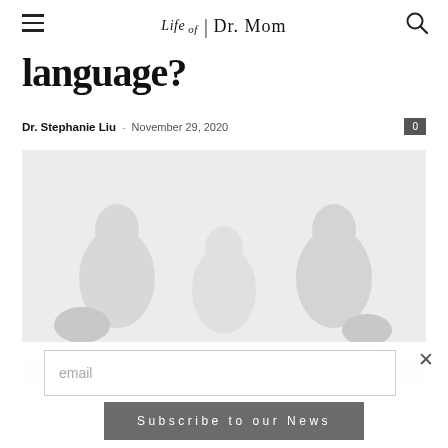Life of Dr. Mom
language?
Dr. Stephanie Liu – November 29, 2020
[Figure (photo): Faded/washed out photo of a family or mother with children, very light tones, mostly white and light gray]
email
Subscribe to our News